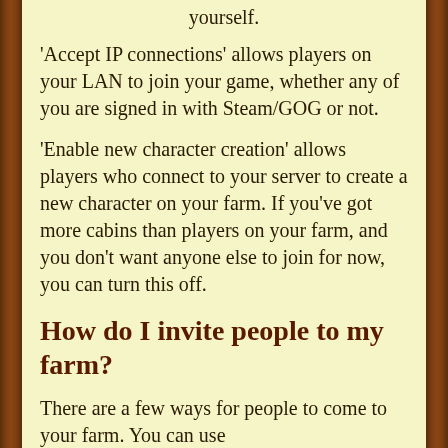yourself.
'Accept IP connections' allows players on your LAN to join your game, whether any of you are signed in with Steam/GOG or not.
'Enable new character creation' allows players who connect to your server to create a new character on your farm. If you've got more cabins than players on your farm, and you don't want anyone else to join for now, you can turn this off.
How do I invite people to my farm?
There are a few ways for people to come to your farm. You can use